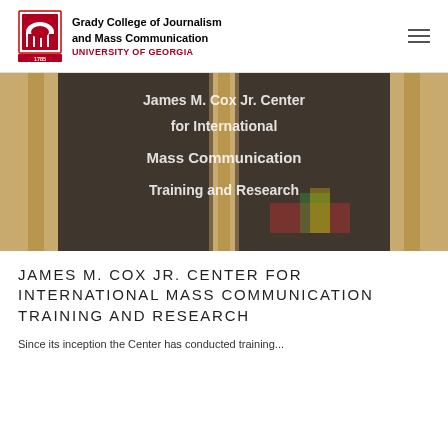Grady College of Journalism and Mass Communication
UNIVERSITY OF GEORGIA
[Figure (photo): Glass door entrance with white text reading 'James M. Cox Jr. Center for International Mass Communication Training and Research', seen through wooden door frames with blurred interior background]
JAMES M. COX JR. CENTER FOR INTERNATIONAL MASS COMMUNICATION TRAINING AND RESEARCH
Since its inception the Center has conducted training...